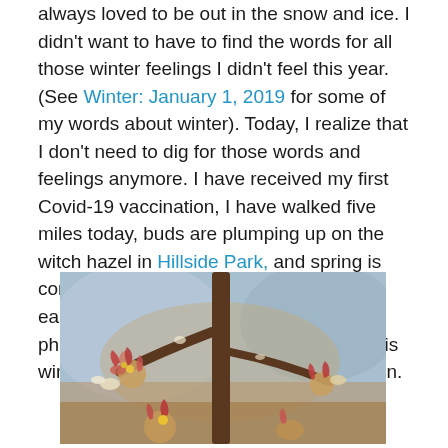always loved to be out in the snow and ice. I didn't want to have to find the words for all those winter feelings I didn't feel this year. (See Winter: January 1, 2019 for some of my words about winter). Today, I realize that I don't need to dig for those words and feelings anymore. I have received my first Covid-19 vaccination, I have walked five miles today, buds are plumping up on the witch hazel in Hillside Park, and spring is coming soon. Before spring arrives in earnest, I want to share some words and photos about my favorite refuge during this winter of our pandemic and social disunion.
[Figure (photo): Close-up photograph of witch hazel branches with buds beginning to bloom, reddish-pink curled petals visible against a blurred blue and brown background.]